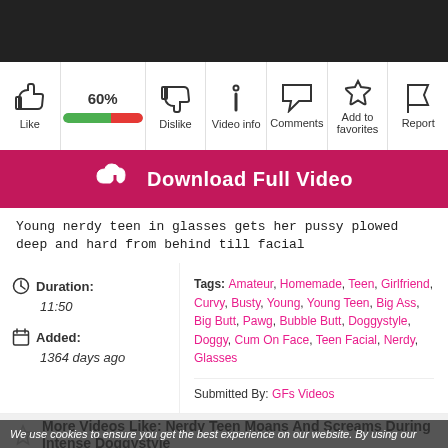[Figure (screenshot): Dark video thumbnail at top of page]
| Like | 60% | Dislike | Video info | Comments | Add to favorites | Report |
| --- | --- | --- | --- | --- | --- | --- |
Download Full Video
Young nerdy teen in glasses gets her pussy plowed deep and hard from behind till facial
Duration: 11:50
Added: 1364 days ago
Tags: Amateur, Homemade, Teen, Girlfriend, Curvy, Busty, Young, Young Teen, Big Ass, Big Butt, Pawg, Bubble Butt, Doggystyle, Doggy, Cum On Face, Teen Facial, Nerdy, Glasses
Submitted By: GFs Videos
More Videos Like: Nerdy Teen Moans And Screams During Intense Doggystyle
We use cookies to ensure you get the best experience on our website. By using our